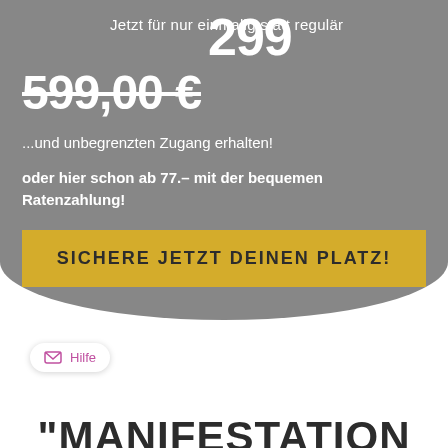Jetzt für nur einmalig 299 statt regulär
599.00 €
...und unbegrenzten Zugang erhalten!
oder hier schon ab 77.– mit der bequemen Ratenzahlung!
SICHERE JETZT DEINEN PLATZ!
"MANIFESTATION KANN NUR DANN